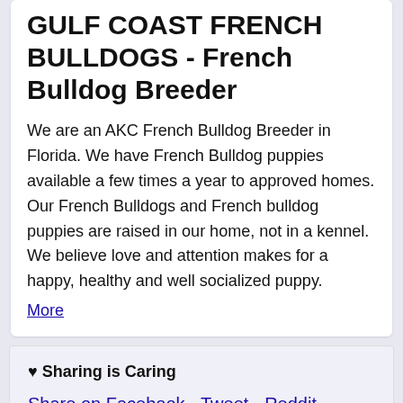GULF COAST FRENCH BULLDOGS - French Bulldog Breeder
We are an AKC French Bulldog Breeder in Florida. We have French Bulldog puppies available a few times a year to approved homes. Our French Bulldogs and French bulldog puppies are raised in our home, not in a kennel. We believe love and attention makes for a happy, healthy and well socialized puppy.
More
♥ Sharing is Caring
Share on Facebook - Tweet - Reddit
Popular Today